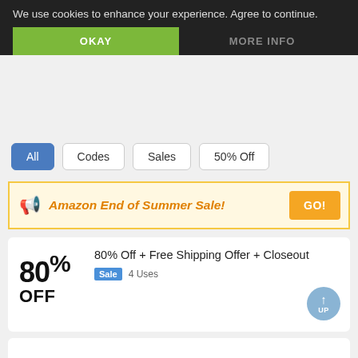We use cookies to enhance your experience. Agree to continue.
OKAY
MORE INFO
All
Codes
Sales
50% Off
Amazon End of Summer Sale!
GO!
80% Off + Free Shipping Offer + Closeout
Sale  4 Uses
80% OFF